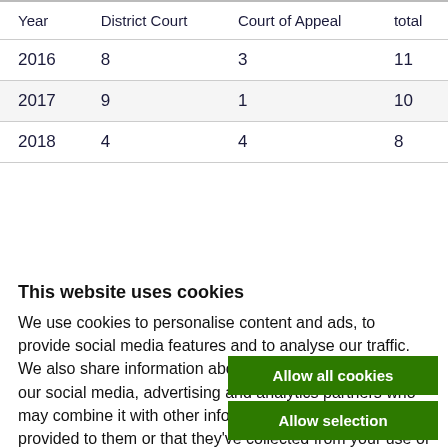| Year | District Court | Court of Appeal | total |
| --- | --- | --- | --- |
| 2016 | 8 | 3 | 11 |
| 2017 | 9 | 1 | 10 |
| 2018 | 4 | 4 | 8 |
This website uses cookies
We use cookies to personalise content and ads, to provide social media features and to analyse our traffic. We also share information about your use of our site with our social media, advertising and analytics partners who may combine it with other information that you’ve provided to them or that they’ve collected from your use of their services.
Cookie policy | Privacy policy | Regulatory
Allow all cookies
Allow selection